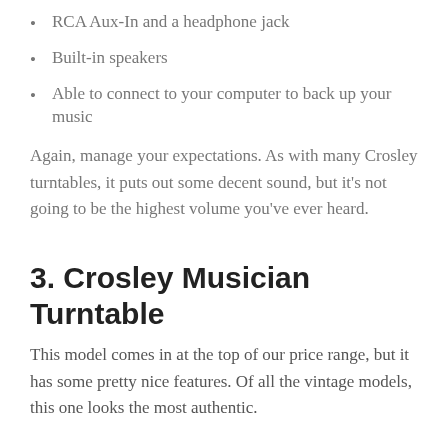RCA Aux-In and a headphone jack
Built-in speakers
Able to connect to your computer to back up your music
Again, manage your expectations. As with many Crosley turntables, it puts out some decent sound, but it’s not going to be the highest volume you’ve ever heard.
3. Crosley Musician Turntable
This model comes in at the top of our price range, but it has some pretty nice features. Of all the vintage models, this one looks the most authentic.